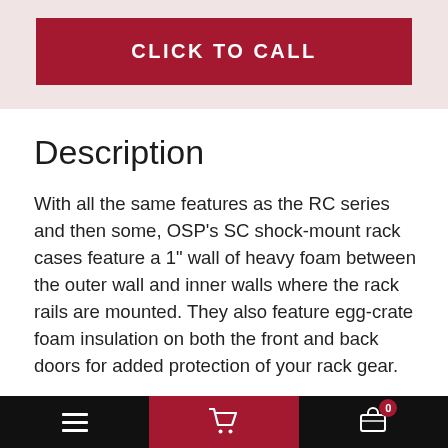[Figure (other): Red 'CLICK TO CALL' button on a light pink/rose background banner]
Description
With all the same features as the RC series and then some, OSP's SC shock-mount rack cases feature a 1" wall of heavy foam between the outer wall and inner walls where the rack rails are mounted. They also feature egg-crate foam insulation on both the front and back doors for added protection of your rack gear.
Protect your investment with the SC12U-12 that
≡  🛒  🛒 0